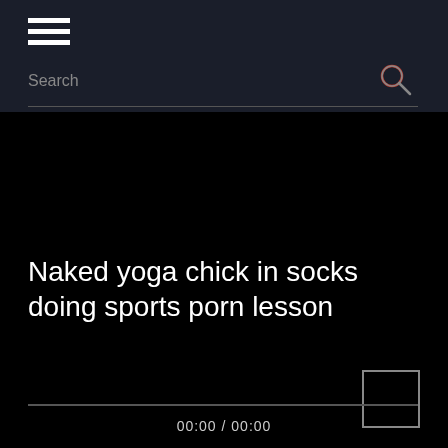[Figure (screenshot): Mobile app top navigation bar with dark background]
Search
Naked yoga chick in socks doing sports porn lesson
00:00 / 00:00